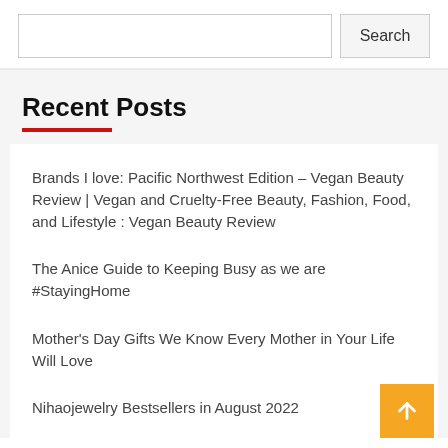Search
Recent Posts
Brands I love: Pacific Northwest Edition – Vegan Beauty Review | Vegan and Cruelty-Free Beauty, Fashion, Food, and Lifestyle : Vegan Beauty Review
The Anice Guide to Keeping Busy as we are #StayingHome
Mother's Day Gifts We Know Every Mother in Your Life Will Love
Nihaojewelry Bestsellers in August 2022
Last-Minute Gift Ideas For All Budgets